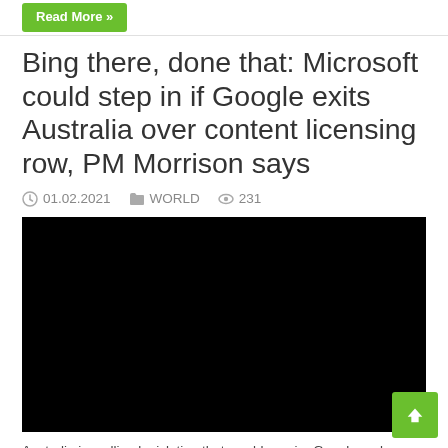Read More »
Bing there, done that: Microsoft could step in if Google exits Australia over content licensing row, PM Morrison says
© 01.02.2021   WORLD   © 231
[Figure (photo): Black image placeholder for article thumbnail]
Australia is mulling legislation that would require Google and